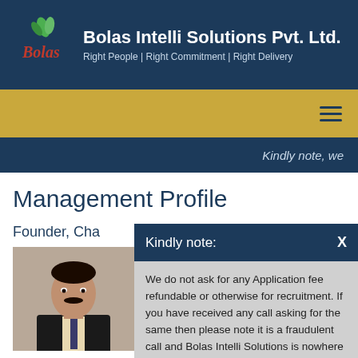Bolas Intelli Solutions Pvt. Ltd. — Right People | Right Commitment | Right Delivery
Kindly note, we
Management Profile
Founder, Cha
[Figure (photo): Portrait photo of a man in a dark suit with a tie]
Kindly note:
We do not ask for any Application fee refundable or otherwise for recruitment. If you have received any call asking for the same then please note it is a fraudulent call and Bolas Intelli Solutions is nowhere liable for it.